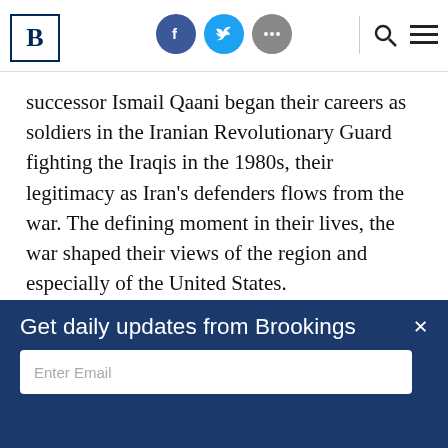Brookings Institution website navigation bar with logo, social icons (Facebook, Twitter, more), search and menu
successor Ismail Qaani began their careers as soldiers in the Iranian Revolutionary Guard fighting the Iraqis in the 1980s, their legitimacy as Iran’s defenders flows from the war. The defining moment in their lives, the war shaped their views of the region and especially of the United States.
Bruce Riedel
Senior Fellow - Foreign Policy, Center for Middle East Policy, Strobe Talbott Center for Security
Get daily updates from Brookings